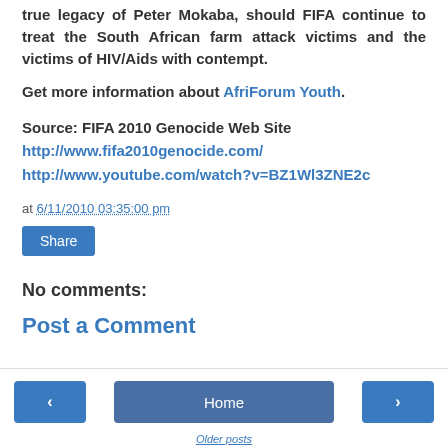true legacy of Peter Mokaba, should FIFA continue to treat the South African farm attack victims and the victims of HIV/Aids with contempt.
Get more information about AfriForum Youth.
Source: FIFA 2010 Genocide Web Site
http://www.fifa2010genocide.com/
http://www.youtube.com/watch?v=BZ1Wl3ZNE2c
at 6/11/2010 03:35:00 pm
Share
No comments:
Post a Comment
< Home >